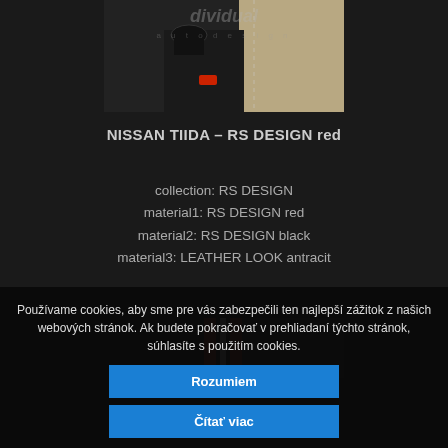[Figure (photo): Car interior photo showing door panel and seat area with beige/black upholstery and red accent, with watermark 'dividual auto design' overlay]
NISSAN TIIDA – RS DESIGN red
collection: RS DESIGN
material1: RS DESIGN red
material2: RS DESIGN black
material3: LEATHER LOOK antracit
[Figure (photo): Car interior photo showing seat upholstery with red and black RS DESIGN material]
Používame cookies, aby sme pre vás zabezpečili ten najlepší zážitok z našich webových stránok. Ak budete pokračovať v prehliadaní týchto stránok, súhlasíte s použitím cookies.
Rozumiem
Čítať viac